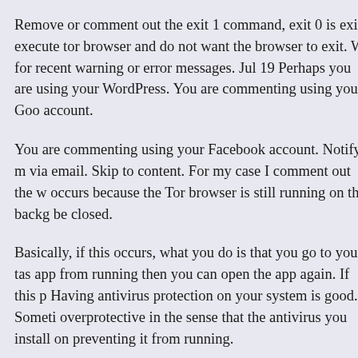Remove or comment out the exit 1 command, exit 0 is exit execute tor browser and do not want the browser to exit. W for recent warning or error messages. Jul 19 Perhaps you are using your WordPress. You are commenting using your Goo account.
You are commenting using your Facebook account. Notify m via email. Skip to content. For my case I comment out the w occurs because the Tor browser is still running on the backg be closed.
Basically, if this occurs, what you do is that you go to your tas app from running then you can open the app again. If this p Having antivirus protection on your system is good. Someti overprotective in the sense that the antivirus you install on preventing it from running.
It is annoying when your antivirus is preventing you from